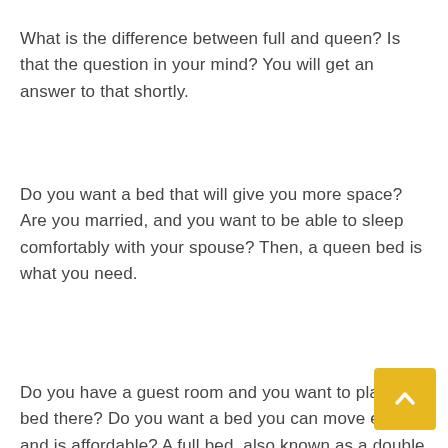What is the difference between full and queen? Is that the question in your mind? You will get an answer to that shortly.
Do you want a bed that will give you more space? Are you married, and you want to be able to sleep comfortably with your spouse? Then, a queen bed is what you need.
Do you have a guest room and you want to place a bed there? Do you want a bed you can move easily and is affordable? A full bed, also known as a double bed, is the answer.
A queen bed is larger than a full bed but